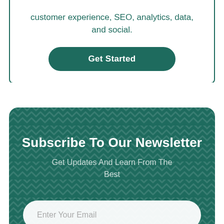customer experience, SEO, analytics, data, and social.
Get Started
Subscribe To Our Newsletter
Get Updates And Learn From The Best
Enter Your Email